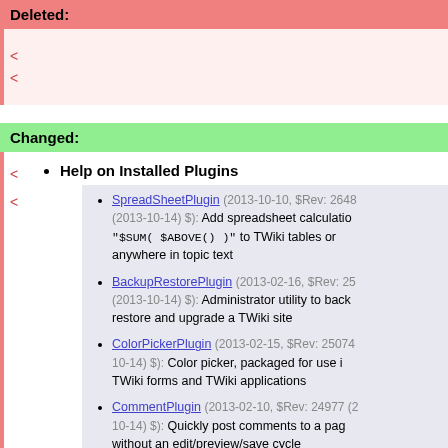Deleted:
< <
Changed:
Help on Installed Plugins
SpreadSheetPlugin (2013-10-10, $Rev: 2648 (2013-10-14) $): Add spreadsheet calculations like "$SUM( $ABOVE() )" to TWiki tables or anywhere in topic text
BackupRestorePlugin (2013-02-16, $Rev: 25 (2013-10-14) $): Administrator utility to back restore and upgrade a TWiki site
ColorPickerPlugin (2013-02-15, $Rev: 25074 10-14) $): Color picker, packaged for use in TWiki forms and TWiki applications
CommentPlugin (2013-02-10, $Rev: 24977 (2 10-14) $): Quickly post comments to a page without an edit/preview/save cycle
DatePickerPlugin (2013-02-04, $Rev: 0000...